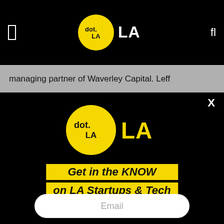dot.LA
managing partner of Waverley Capital. Leff discussed the state of the startup ecosystem...
[Figure (logo): dot.LA logo — yellow circle with 'dot.' text and 'LA' in bold, on black background]
Get in the KNOW on LA Startups & Tech
Email